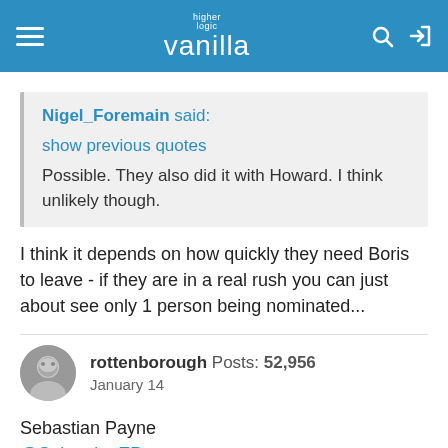higher logic vanilla
Nigel_Foremain said:
show previous quotes
Possible. They also did it with Howard. I think unlikely though.
I think it depends on how quickly they need Boris to leave - if they are in a real rush you can just about see only 1 person being nominated...
rottenborough  Posts: 52,956
January 14
Sebastian Payne
@SebastianEPayne